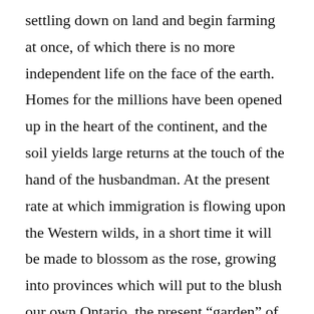settling down on land and begin farming at once, of which there is no more independent life on the face of the earth. Homes for the millions have been opened up in the heart of the continent, and the soil yields large returns at the touch of the hand of the husbandman. At the present rate at which immigration is flowing upon the Western wilds, in a short time it will be made to blossom as the rose, growing into provinces which will put to the blush our own Ontario, the present “garden” of the Dominion. The scene at the Canada Central depot during yesterday was one of indescribable confusion. The hurly-burly continued from an early hour in the morning until the time of departure. The train men and station employees had a great time in getting everything in shape making order out of chaos. The “emigrants” were more or less